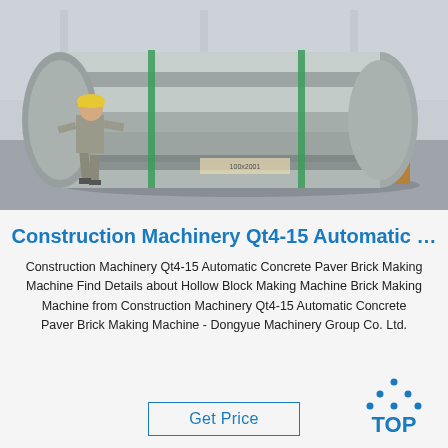[Figure (photo): Industrial photo of a large steel cylinder/roll resting on wooden pallets inside a warehouse. A worker in yellow hard hat and grey uniform stands to the left. Green strapping bands wrap around the silver metallic cylinder.]
Construction Machinery Qt4-15 Automatic …
Construction Machinery Qt4-15 Automatic Concrete Paver Brick Making Machine Find Details about Hollow Block Making Machine Brick Making Machine from Construction Machinery Qt4-15 Automatic Concrete Paver Brick Making Machine - Dongyue Machinery Group Co. Ltd.
[Figure (logo): TOP logo with blue dotted triangle above bold blue text 'TOP']
Get Price